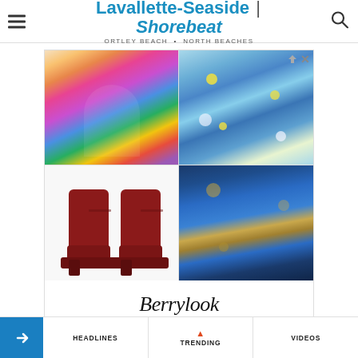Lavallette-Seaside | Shorebeat — ORTLEY BEACH • NORTH BEACHES
[Figure (photo): Advertisement banner for Berrylook fashion. A 2x2 grid of clothing photos: top-left shows a colorful rainbow tie-dye sundress, top-right shows a blue floral maxi dress, bottom-left shows a pair of red/burgundy block-heel ankle boots, bottom-right shows a blue floral short-sleeve midi dress. Below the grid is the Berrylook brand logo in italic script lettering.]
HEADLINES   TRENDING   VIDEOS